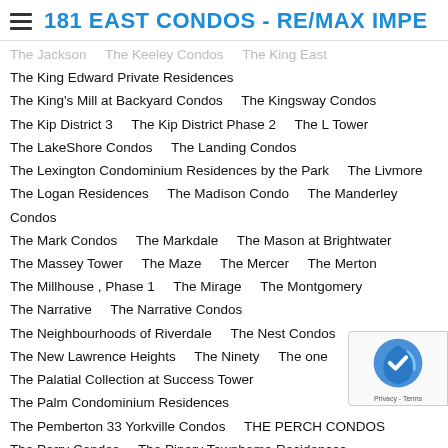181 EAST CONDOS - RE/MAX IMPE
The Jackson    The Keeley Condos    The King East
The King Edward Private Residences
The King's Mill at Backyard Condos    The Kingsway Condos
The Kip District 3    The Kip District Phase 2    The L Tower
The LakeShore Condos    The Landing Condos
The Lexington Condominium Residences by the Park    The Livmore
The Logan Residences    The Madison Condo    The Manderley Condos
The Mark Condos    The Markdale    The Mason at Brightwater
The Massey Tower    The Maze    The Mercer    The Merton
The Millhouse , Phase 1    The Mirage    The Montgomery
The Narrative    The Narrative Condos
The Neighbourhoods of Riverdale    The Nest Condos
The New Lawrence Heights    The Ninety    The one
The Palatial Collection at Success Tower
The Palm Condominium Residences
The Pemberton 33 Yorkville Condos    THE PERCH CONDOS
The Perry Condos    The Pinery Townhome Residences
The Pinnacle on Adelaide    The Poet Condos
The Point at Emerald City    The Queensway Way
The Randall Residences    The Remington Centre
The Renaissance Condominiums at the Neighbourhoods of Oak Par
The Residence at South Unonville Square
The Residences at Gordon Woods    The Residences at Parkside Village